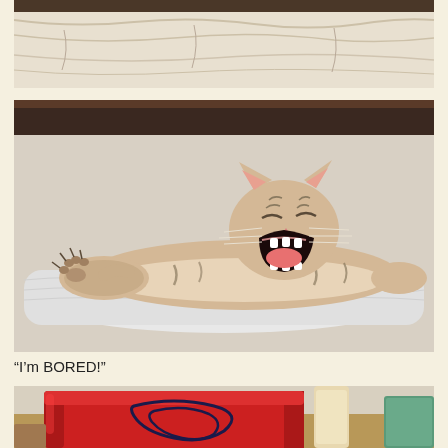[Figure (photo): Top portion of a photo showing a bed with white/beige rumpled sheets and a dark headboard, cropped at the top of the page]
[Figure (photo): A tabby cat with white and orange/brown markings lying stretched out on a fluffy white towel/mat on a bed, yawning widely with mouth open and one paw extended outward, eyes squinted shut]
“I’m BORED!”
[Figure (photo): Bottom photo showing a red bag or container with dark swirl design on a table or surface, with a light-colored wall in background and some objects to the right]